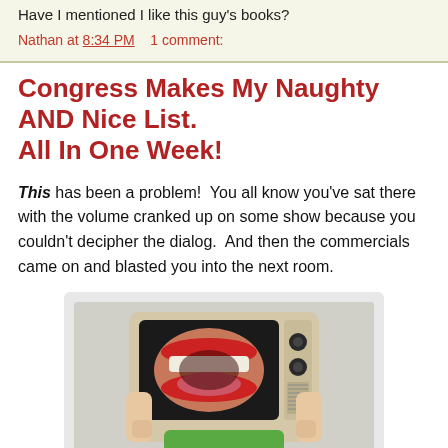Have I mentioned I like this guy's books?
Nathan at 8:34 PM    1 comment:
Congress Makes My Naughty AND Nice List. All In One Week!
This has been a problem!  You all know you've sat there with the volume cranked up on some show because you couldn't decipher the dialog.  And then the commercials came on and blasted you into the next room.
[Figure (photo): Person in green shirt holding a vintage television set in front of their face. The TV screen shows a close-up of a screaming open mouth with red lips.]